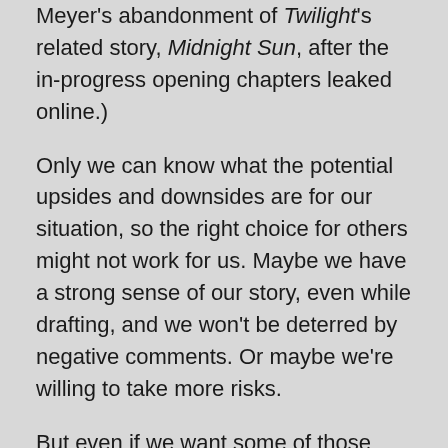Meyer's abandonment of Twilight's related story, Midnight Sun, after the in-progress opening chapters leaked online.)
Only we can know what the potential upsides and downsides are for our situation, so the right choice for others might not work for us. Maybe we have a strong sense of our story, even while drafting, and we won't be deterred by negative comments. Or maybe we're willing to take more risks.
But even if we want some of those potential upsides, we can try to minimize the downsides. For example, if we need to post in semi-public areas for feedback, we can search for forums that encourage constructive criticism or that focus on our genre.
If we want the cheerleading aspect, we could post only in smaller, vetted groups, such as among our